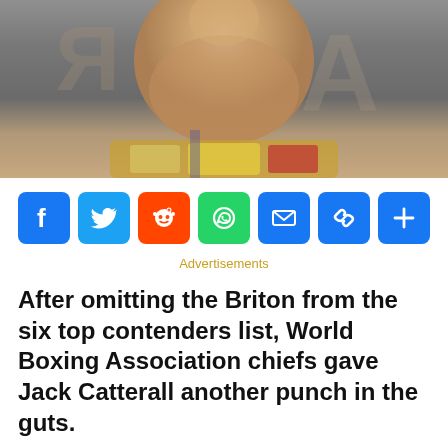[Figure (photo): Shirtless boxer holding a championship belt, standing in front of a backdrop with partially visible text. The boxer's torso and belt are prominently shown.]
[Figure (infographic): Social media share buttons row: Facebook (blue), Twitter (blue), Reddit (orange-red), WhatsApp (green), Email (blue), Link/copy (blue), More/share (blue)]
Advertisements
After omitting the Briton from the six top contenders list, World Boxing Association chiefs gave Jack Catterall another punch in the guts.
Following the decision to strip Josh Taylor of the title